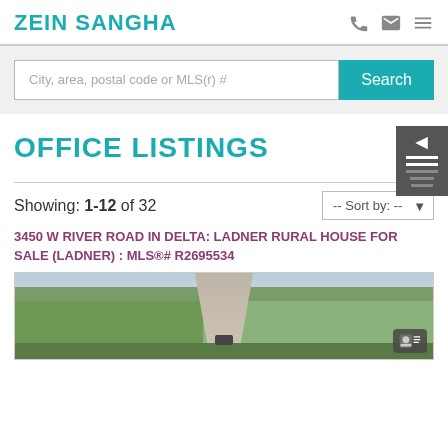ZEIN SANGHA
City, area, postal code or MLS(r) #
OFFICE LISTINGS
Showing: 1-12 of 32
-- Sort by: --
3450 W RIVER ROAD IN DELTA: LADNER RURAL HOUSE FOR SALE (LADNER) : MLS®# R2695534
[Figure (photo): Aerial view of a rural property with a road/driveway, green fields and lawn]